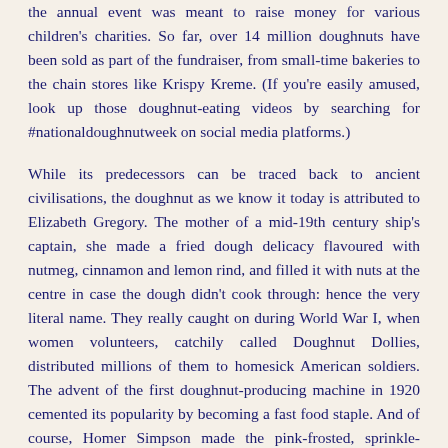the annual event was meant to raise money for various children's charities. So far, over 14 million doughnuts have been sold as part of the fundraiser, from small-time bakeries to the chain stores like Krispy Kreme. (If you're easily amused, look up those doughnut-eating videos by searching for #nationaldoughnutweek on social media platforms.)
While its predecessors can be traced back to ancient civilisations, the doughnut as we know it today is attributed to Elizabeth Gregory. The mother of a mid-19th century ship's captain, she made a fried dough delicacy flavoured with nutmeg, cinnamon and lemon rind, and filled it with nuts at the centre in case the dough didn't cook through: hence the very literal name. They really caught on during World War I, when women volunteers, catchily called Doughnut Dollies, distributed millions of them to homesick American soldiers. The advent of the first doughnut-producing machine in 1920 cemented its popularity by becoming a fast food staple. And of course, Homer Simpson made the pink-frosted, sprinkle-covered doughnut a pop culture classic.
I'll admit it; I did not wait for the big brands to grace Chennai with their presence. I once asked a friend who had gone home to Delhi